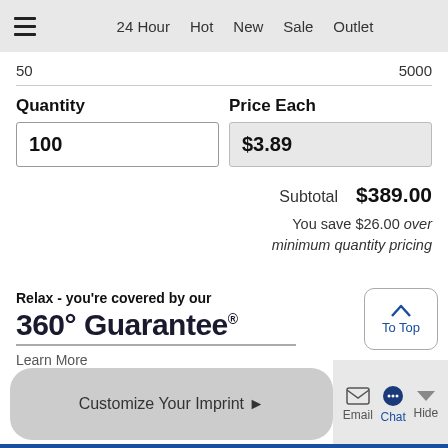24 Hour  Hot  New  Sale  Outlet
50  5000
Quantity  Price Each
100  $3.89
Subtotal  $389.00
You save $26.00 over minimum quantity pricing
Relax - you're covered by our 360° Guarantee®
Learn More
Customize Your Imprint ▶
Email  Chat  Hide
To Top